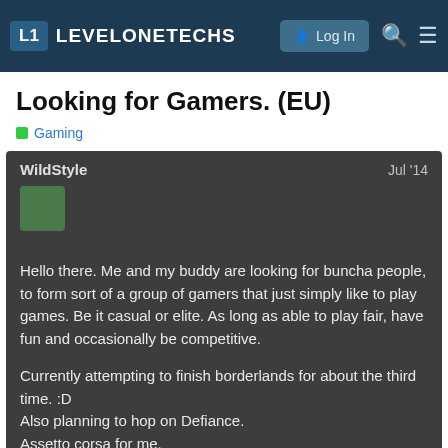L1 LEVELONETECHS — Log In
Looking for Gamers. (EU)
Gaming
WildStyle — Jul '14
Hello there. Me and my buddy are looking for buncha people, to form sort of a group of gamers that just simply like to play games. Be it casual or elite. As long as able to play fair, have fun and occasionally be competitive.

Currently attempting to finish borderlands for about the third time. :D
Also planning to hop on Defiance.
Assetto corsa for me.
I personally would like to get a serious group for CS:GO don't care for rank as long as can be serious while having fun.
Spintires sort of, maybe..Awesome game, just that the